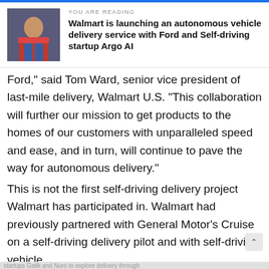YOU ARE READING
Walmart is launching an autonomous vehicle delivery service with Ford and Self-driving startup Argo AI
Ford,” said Tom Ward, senior vice president of last-mile delivery, Walmart U.S. “This collaboration will further our mission to get products to the homes of our customers with unparalleled speed and ease, and in turn, will continue to pave the way for autonomous delivery.”
This is not the first self-driving delivery project Walmart has participated in. Walmart had previously partnered with General Motor’s Cruise on a self-driving delivery pilot and with self-driving vehicle startups Gatik and Nuro to explore delivery through